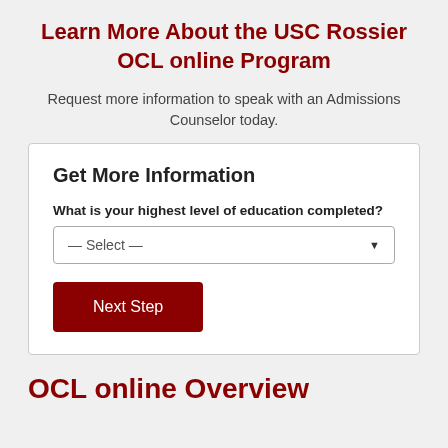Learn More About the USC Rossier OCL online Program
Request more information to speak with an Admissions Counselor today.
Get More Information
What is your highest level of education completed?
— Select —
Next Step
OCL online Overview